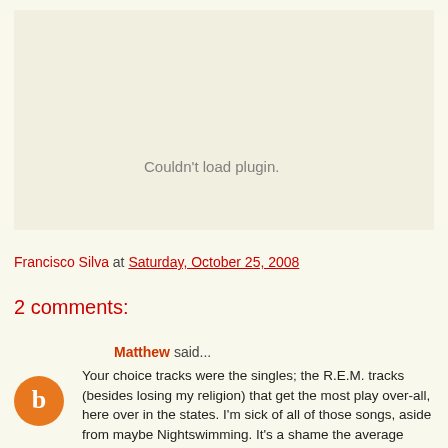[Figure (other): Plugin placeholder area with 'Couldn't load plugin.' message in gray text]
Francisco Silva at Saturday, October 25, 2008
2 comments:
Matthew said...
Your choice tracks were the singles; the R.E.M. tracks (besides losing my religion) that get the most play over-all, here over in the states. I'm sick of all of those songs, aside from maybe Nightswimming. It's a shame the average person hasn't heard songs like Try Not to